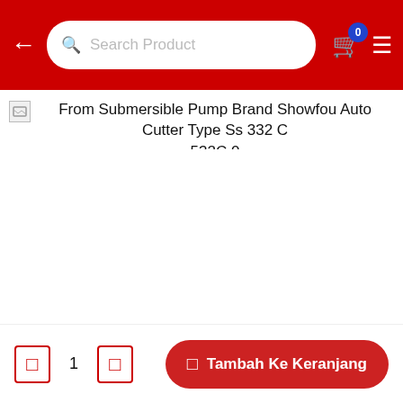Search Product
From Submersible Pump Brand Showfou Auto Cutter Type Ss 332 C 532C 0
1
Tambah Ke Keranjang